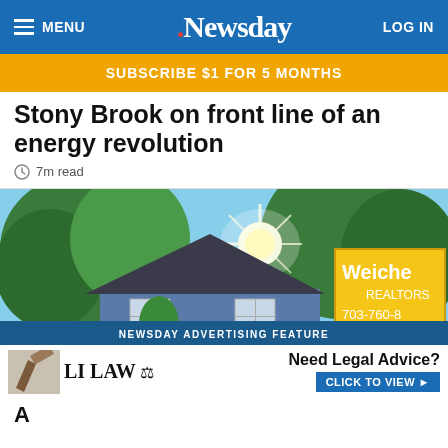MENU | Newsday | LOG IN
SUBSCRIBE $1 FOR 5 MONTHS
Stony Brook on front line of an energy revolution
7m read
[Figure (photo): Photo of a blue suburban house with trees and sunburst, next to a yellow Weichert real estate sign showing 703-760-8...]
NEWSDAY ADVERTISING FEATURE
LI LAW — Need Legal Advice? CLICK TO VIEW ▶